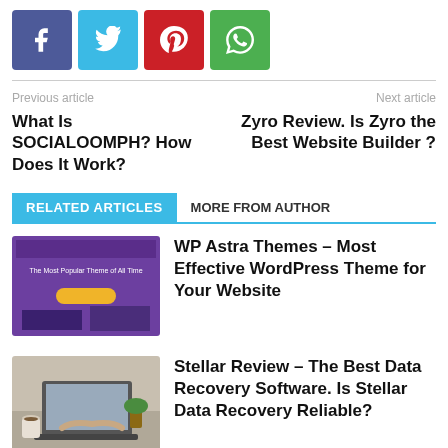[Figure (other): Social share buttons: Facebook (blue), Twitter (light blue), Pinterest (red), WhatsApp (green)]
Previous article
Next article
What Is SOCIALOOMPH? How Does It Work?
Zyro Review. Is Zyro the Best Website Builder ?
RELATED ARTICLES
MORE FROM AUTHOR
[Figure (screenshot): Screenshot of WP Astra Themes website with purple background and text 'The Most Popular Theme of All Time']
WP Astra Themes – Most Effective WordPress Theme for Your Website
[Figure (photo): Photo of a person using a laptop on a desk with a coffee cup and plant]
Stellar Review – The Best Data Recovery Software. Is Stellar Data Recovery Reliable?